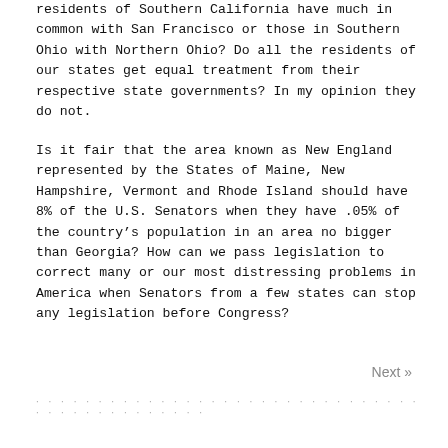residents of Southern California have much in common with San Francisco or those in Southern Ohio with Northern Ohio? Do all the residents of our states get equal treatment from their respective state governments? In my opinion they do not.
Is it fair that the area known as New England represented by the States of Maine, New Hampshire, Vermont and Rhode Island should have 8% of the U.S. Senators when they have .05% of the country's population in an area no bigger than Georgia? How can we pass legislation to correct many or our most distressing problems in America when Senators from a few states can stop any legislation before Congress?
Next »